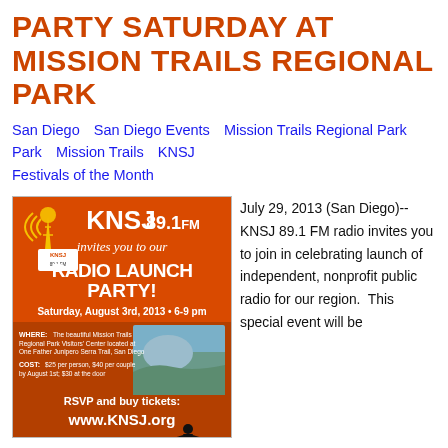PARTY SATURDAY AT MISSION TRAILS REGIONAL PARK
San Diego   San Diego Events   Mission Trails Regional Park   Mission Trails   KNSJ   Festivals of the Month
[Figure (other): KNSJ 89.1 FM Radio Launch Party event flyer with orange background, radio tower graphic, and event details: Saturday, August 3rd, 2013, 6-9 pm, Mission Trails Regional Park Visitors Center, RSVP at www.KNSJ.org]
July 29, 2013 (San Diego)-- KNSJ 89.1 FM radio invites you to join in celebrating launch of independent, nonprofit public radio for our region.  This special event will be